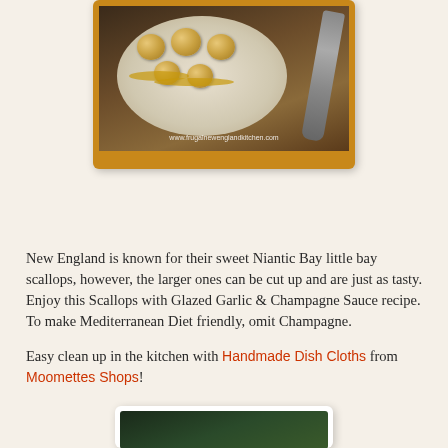[Figure (photo): Photo of seared scallops with glazed garlic and champagne sauce on a white plate with fork, displayed in an orange-bordered card. Watermark: www.frugalnewenglandkitchen.com]
New England is known for their sweet Niantic Bay little bay scallops, however, the larger ones can be cut up and are just as tasty. Enjoy this Scallops with Glazed Garlic & Champagne Sauce recipe. To make Mediterranean Diet friendly, omit Champagne.
Easy clean up in the kitchen with Handmade Dish Cloths from Moomettes Shops!
[Figure (photo): Partial photo visible at bottom of page, appears to show green herbs or plants on a dark background, in a white-bordered card.]